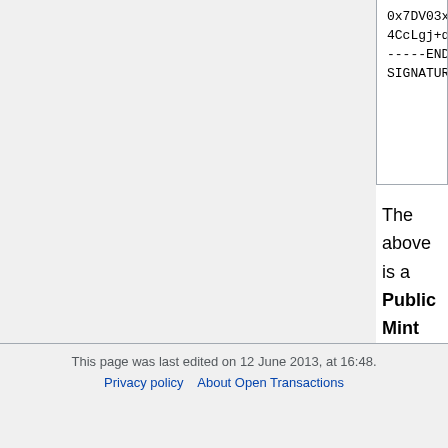[Figure (screenshot): Code block showing end of a contract signature block: '0x7DV03xjFtK...', '4CcLgj+da5M8VrdtFjKSyOMqH47wl9a...', '-----END CONTRACT SIGNATURE-----']
The above is a Public Mint File which the wallet will download every time a new series is released. The wallet uses the public keys to generate prototokens (for cash withdrawals). The Private Mint File is stored on the server side, and it also contains the private minting keys. These are used to sign the tokens (while they are blinded), as well as to verify them later when they are spent by the recipient (after being unblinded by the wallet.)
This page was last edited on 12 June 2013, at 16:48.
Privacy policy   About Open Transactions